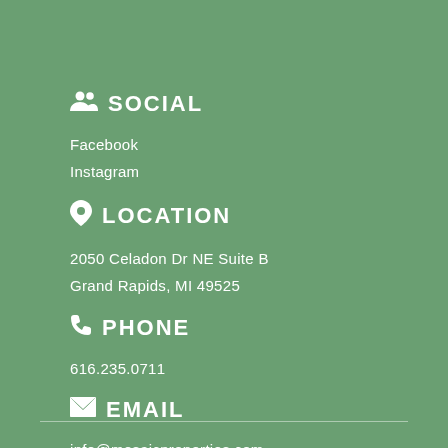SOCIAL
Facebook
Instagram
LOCATION
2050 Celadon Dr NE Suite B
Grand Rapids, MI 49525
PHONE
616.235.0711
EMAIL
info@mosaicproperties.com